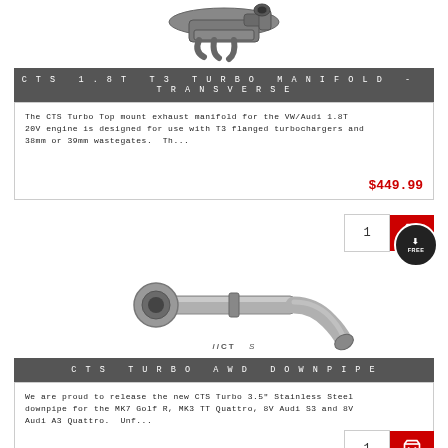[Figure (photo): CTS 1.8T T3 Turbo Manifold product photo - metal exhaust manifold component]
CTS 1.8T T3 TURBO MANIFOLD - TRANSVERSE
The CTS Turbo Top mount exhaust manifold for the VW/Audi 1.8T 20V engine is designed for use with T3 flanged turbochargers and 38mm or 39mm wastegates. Th...
$449.99
[Figure (photo): CTS Turbo AWD Downpipe product photo - stainless steel downpipe with logo]
CTS TURBO AWD DOWNPIPE
We are proud to release the new CTS Turbo 3.5" Stainless Steel downpipe for the MK7 Golf R, MK3 TT Quattro, 8V Audi S3 and 8V Audi A3 Quattro. Unf...
$599.99